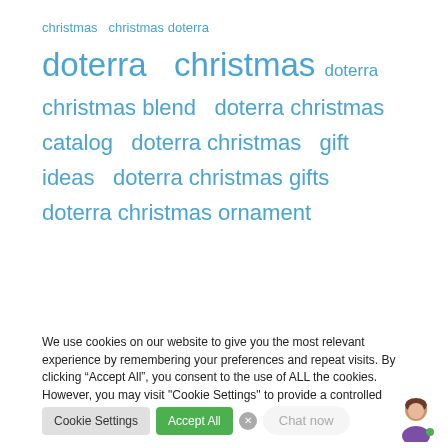[Figure (infographic): Tag cloud showing search keyword variations related to 'christmas' and 'doterra' in blue text, with varying font sizes indicating frequency/relevance. Keywords include: christmas, christmas doterra, doterra christmas, doterra, christmas blend, doterra christmas, catalog, doterra christmas gift ideas, doterra christmas gifts, doterra christmas ornament.]
We use cookies on our website to give you the most relevant experience by remembering your preferences and repeat visits. By clicking “Accept All”, you consent to the use of ALL the cookies. However, you may visit "Cookie Settings" to provide a controlled consent.
Cookie Settings | Accept All | x | Chat now